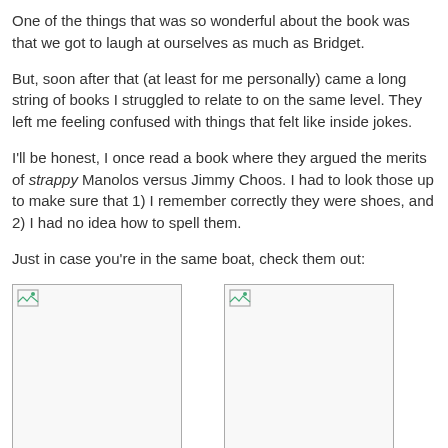One of the things that was so wonderful about the book was that we got to laugh at ourselves as much as Bridget.
But, soon after that (at least for me personally) came a long string of books I struggled to relate to on the same level. They left me feeling confused with things that felt like inside jokes.
I'll be honest, I once read a book where they argued the merits of strappy Manolos versus Jimmy Choos. I had to look those up to make sure that 1) I remember correctly they were shoes, and 2) I had no idea how to spell them.
Just in case you're in the same boat, check them out:
[Figure (photo): Broken image placeholder for Jimmy Choos product image]
[Figure (photo): Broken image placeholder for Manolos product image]
$1,695 Jimmy
$945 Manolos